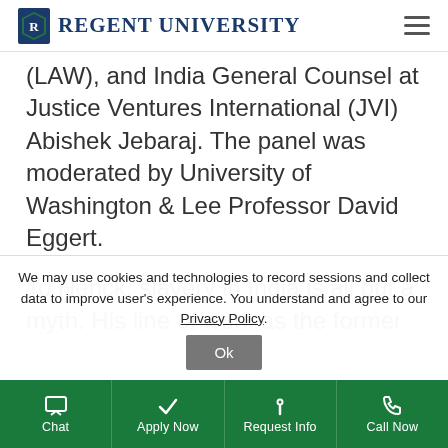Regent University
(LAW), and India General Counsel at Justice Ventures International (JVI) Abishek Jebaraj. The panel was moderated by University of Washington & Lee Professor David Eggert.
To Henck, slavery in India is all but a myth. His line of work as the former
We may use cookies and technologies to record sessions and collect data to improve user's experience. You understand and agree to our Privacy Policy.
Chat | Apply Now | Request Info | Call Now